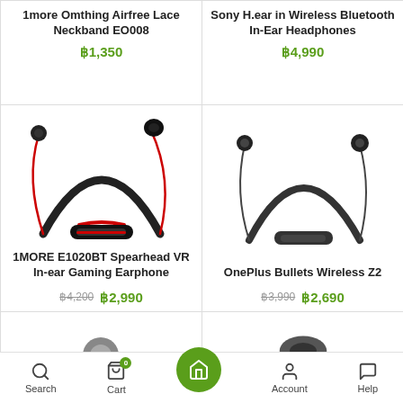1more Omthing Airfree Lace Neckband EO008
฿1,350
Sony H.ear in Wireless Bluetooth In-Ear Headphones
฿4,990
[Figure (photo): 1MORE E1020BT Spearhead VR In-ear Gaming Earphone - black neckband with red cable]
1MORE E1020BT Spearhead VR In-ear Gaming Earphone
฿4,200 ฿2,990
[Figure (photo): OnePlus Bullets Wireless Z2 - black neckband earphones]
OnePlus Bullets Wireless Z2
฿3,990 ฿2,690
[Figure (photo): Partial product image at bottom left]
[Figure (photo): Partial product image at bottom right]
Search | Cart | Home | Account | Help